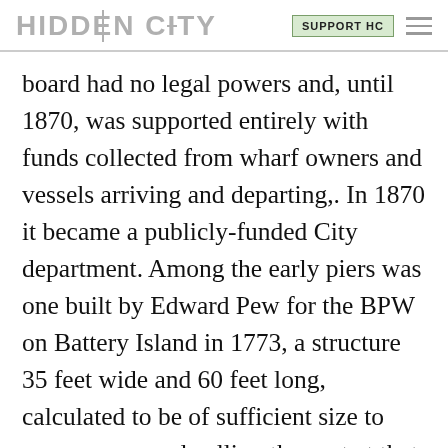HIDDEN CITY | SUPPORT HC
board had no legal powers and, until 1870, was supported entirely with funds collected from wharf owners and vessels arriving and departing,. In 1870 it became a publicly-funded City department. Among the early piers was one built by Edward Pew for the BPW on Battery Island in 1773, a structure 35 feet wide and 60 feet long, calculated to be of sufficient size to serve any vessel calling the port at that time. The BPW paid Pew 300 pounds and 60 gallons of rum for his w Another early pier was the Queen Stree